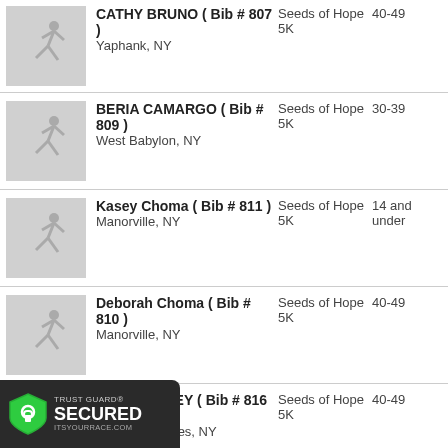CATHY BRUNO ( Bib # 807 ) Yaphank, NY | Seeds of Hope 5K | 40-49
BERIA CAMARGO ( Bib # 809 ) West Babylon, NY | Seeds of Hope 5K | 30-39
Kasey Choma ( Bib # 811 ) Manorville, NY | Seeds of Hope 5K | 14 and under
Deborah Choma ( Bib # 810 ) Manorville, NY | Seeds of Hope 5K | 40-49
DIANE COREY ( Bib # 816 ) Center Moriches, NY | Seeds of Hope 5K | 40-49
Cosentino ( Bib # 99 ) [k, NY] | Seeds of Hope 5K | 14 and under
[Figure (logo): Trust Guard Secured badge with green shield and lock icon, ITSYOURRACE.COM]